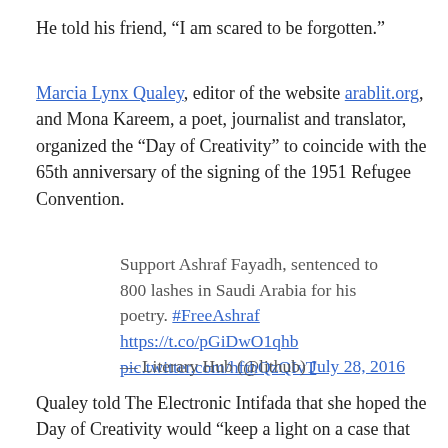He told his friend, “I am scared to be forgotten.”
Marcia Lynx Qualey, editor of the website arablit.org, and Mona Kareem, a poet, journalist and translator, organized the “Day of Creativity” to coincide with the 65th anniversary of the signing of the 1951 Refugee Convention.
Support Ashraf Fayadh, sentenced to 800 lashes in Saudi Arabia for his poetry. #FreeAshraf https://t.co/pGiDwO1qhb pic.twitter.com/hfthQzQIvT
— Literary Hub (@lithub) July 28, 2016
Qualey told The Electronic Intifada that she hoped the Day of Creativity would “keep a light on a case that could easily be forgotten, one where attention might help Ashraf from being